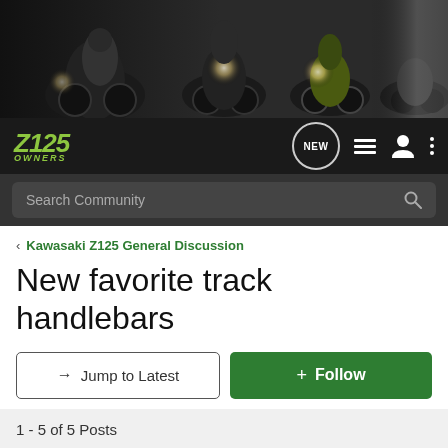[Figure (photo): Banner image showing multiple Kawasaki motorcycles with riders, dark background with dramatic lighting]
Z125 OWNERS — navigation bar with logo, NEW button, menu icons
Search Community
Kawasaki Z125 General Discussion
New favorite track handlebars
→ Jump to Latest
+ Follow
1 - 5 of 5 Posts
colticus · Registered 🇺🇸
Joined May 23, 2017 · 317 Posts